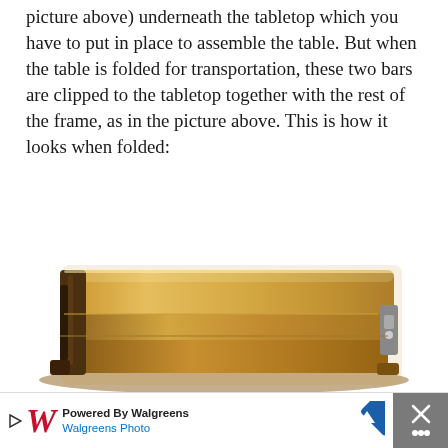picture above) underneath the tabletop which you have to put in place to assemble the table. But when the table is folded for transportation, these two bars are clipped to the tabletop together with the rest of the frame, as in the picture above. This is how it looks when folded:
[Figure (photo): Zempire Kitpac Round V2 Table shown folded flat — a compact rectangular bundle of wooden tabletop panels and metal frame clipped together, viewed from a slight angle.]
Zempire Kitpac Round V2 Table folded.
But when you need the table, you do the
[Figure (infographic): Advertisement bar: Powered By Walgreens / Walgreens Photo logo with navigation arrow icon and close button.]